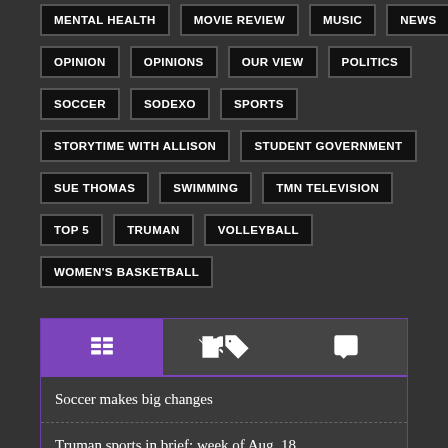MENTAL HEALTH
MOVIE REVIEW
MUSIC
NEWS
OPINION
OPINIONS
OUR VIEW
POLITICS
SOCCER
SODEXO
SPORTS
STORYTIME WITH ALLISON
STUDENT GOVERNMENT
SUE THOMAS
SWIMMING
TMN TELEVISION
TOP 5
TRUMAN
VOLLEYBALL
WOMEN'S BASKETBALL
Soccer makes big changes
Truman sports in brief: week of Aug. 18
Bulldogs earn academic honors